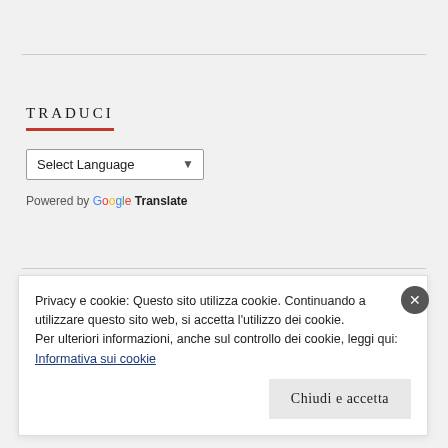TRADUCI
[Figure (screenshot): Language selector dropdown showing 'Select Language' with arrow, and 'Powered by Google Translate' text below]
Privacy e cookie: Questo sito utilizza cookie. Continuando a utilizzare questo sito web, si accetta l'utilizzo dei cookie.
Per ulteriori informazioni, anche sul controllo dei cookie, leggi qui:
Informativa sui cookie
Chiudi e accetta